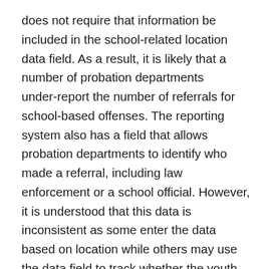does not require that information be included in the school-related location data field. As a result, it is likely that a number of probation departments under-report the number of referrals for school-based offenses. The reporting system also has a field that allows probation departments to identify who made a referral, including law enforcement or a school official. However, it is understood that this data is inconsistent as some enter the data based on location while others may use the data field to track whether the youth came in by an arrest from law enforcement or referral from a school official. When school police are tracked as law enforcement, it is unclear whether it was school-based law enforcement or law enforcement outside of school that made the arrest. It is impossible to understand the scope of the problem of school-based juvenile probation